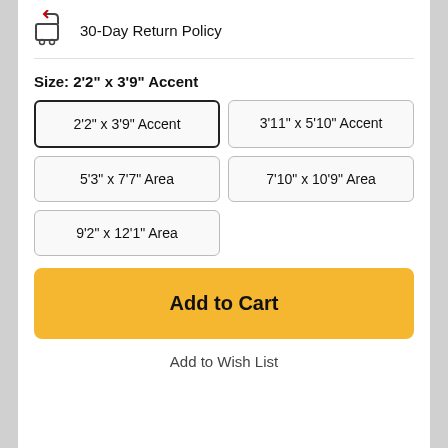30-Day Return Policy
Size: 2'2" x 3'9" Accent
2'2" x 3'9" Accent
3'11" x 5'10" Accent
5'3" x 7'7" Area
7'10" x 10'9" Area
9'2" x 12'1" Area
Add to Cart
Add to Wish List